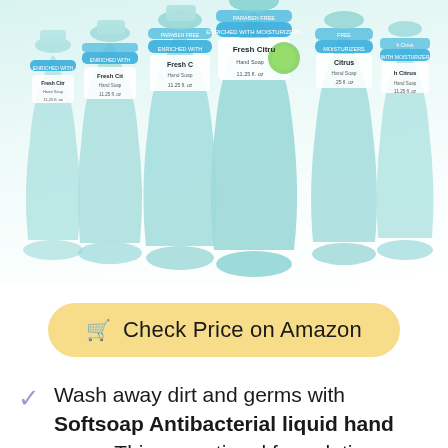[Figure (photo): Six Softsoap Antibacterial Fresh Citrus liquid hand soap bottles in a row, teal/mint colored translucent bottles with white and blue labels, 'PARABEN FREE' and 'ENRICHED WITH MOISTURIZERS' text on labels]
Check Price on Amazon
Wash away dirt and germs with Softsoap Antibacterial liquid hand soap. This exceptional formulation includes moisturizes and gently protects and moisturizes, leaving your skin feeling soft and secure. It's scientifically proven to